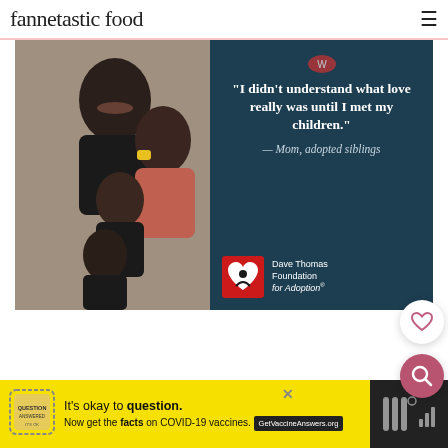fannetastic food
[Figure (photo): Advertisement from Dave Thomas Foundation for Adoption showing a happy Black family (man, woman, two children) on the left half and a quote on dark blue background on the right: 'I didn't understand what love really was until I met my children.' — Mom, adopted siblings, with Dave Thomas Foundation for Adoption logo]
[Figure (infographic): Yellow COVID-19 vaccine information banner at bottom: 'It's okay to question. Now get the facts on COVID-19 vaccines. GetVaccineAnswers.org' with a stamp graphic and close button]